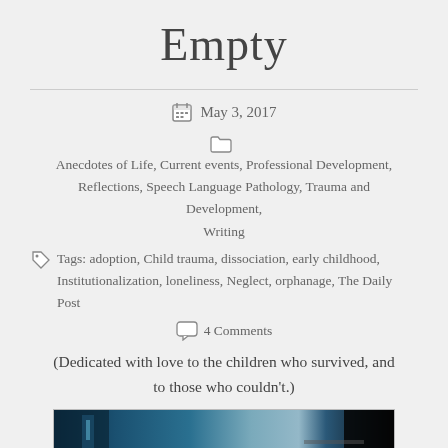Empty
May 3, 2017
Anecdotes of Life, Current events, Professional Development, Reflections, Speech Language Pathology, Trauma and Development, Writing
Tags: adoption, Child trauma, dissociation, early childhood, Institutionalization, loneliness, Neglect, orphanage, The Daily Post
4 Comments
(Dedicated with love to the children who survived, and to those who couldn't.)
[Figure (photo): Dark photograph showing a dimly lit interior, predominantly dark blues and blacks with some teal, possibly showing a door or window frame.]